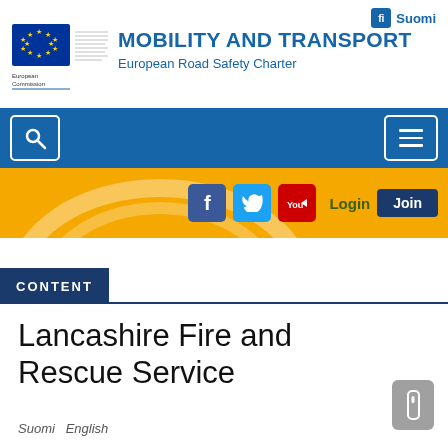fi Suomi
[Figure (logo): European Commission logo with EU flag stars and building graphic]
MOBILITY AND TRANSPORT
European Road Safety Charter
[Figure (screenshot): Blue navigation bar with search icon on left and hamburger menu on right]
[Figure (screenshot): Yellow social media bar with Facebook, Twitter, YouTube icons, Login text, and Join button, with road arc decorative graphic]
CONTENT
Lancashire Fire and Rescue Service
Suomi English